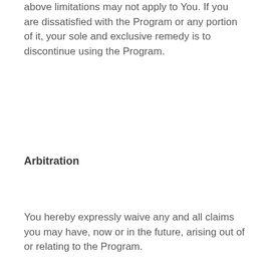above limitations may not apply to You. If you are dissatisfied with the Program or any portion of it, your sole and exclusive remedy is to discontinue using the Program.
Arbitration
You hereby expressly waive any and all claims you may have, now or in the future, arising out of or relating to the Program.